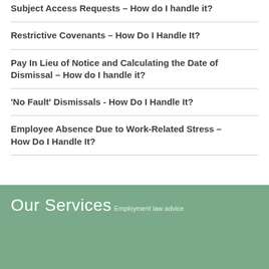Subject Access Requests – How do I handle it?
Restrictive Covenants – How Do I Handle It?
Pay In Lieu of Notice and Calculating the Date of Dismissal – How do I handle it?
'No Fault' Dismissals - How Do I Handle It?
Employee Absence Due to Work-Related Stress – How Do I Handle It?
Our Services
Employment law advice